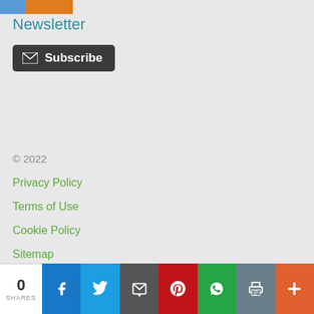[Figure (logo): Two logo blocks: a blue rectangle and an orange rectangle side by side at top]
Newsletter
[Figure (other): Dark subscribe button with envelope icon and text 'Subscribe']
© 2022
Privacy Policy
Terms of Use
Cookie Policy
Sitemap
0 SHARES — social share bar with Facebook, Twitter, Email, Pinterest, WhatsApp, Print, More buttons